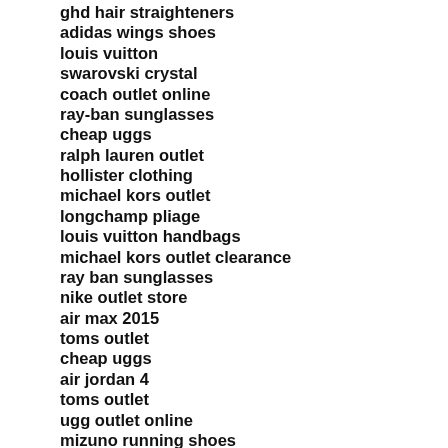ghd hair straighteners
adidas wings shoes
louis vuitton
swarovski crystal
coach outlet online
ray-ban sunglasses
cheap uggs
ralph lauren outlet
hollister clothing
michael kors outlet
longchamp pliage
louis vuitton handbags
michael kors outlet clearance
ray ban sunglasses
nike outlet store
air max 2015
toms outlet
cheap uggs
air jordan 4
toms outlet
ugg outlet online
mizuno running shoes
nba jerseys